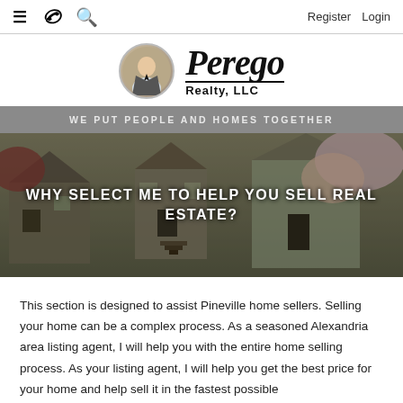≡  ☎  🔍   Register  Login
[Figure (logo): Perego Realty LLC logo with circular headshot photo of agent on left and stylized italic Perego Realty LLC text on right]
WE PUT PEOPLE AND HOMES TOGETHER
[Figure (photo): Photo of a residential house with flowering trees (appears to be spring), multiple stories with porches, overlaid with white bold text reading WHY SELECT ME TO HELP YOU SELL REAL ESTATE?]
This section is designed to assist Pineville home sellers. Selling your home can be a complex process. As a seasoned Alexandria area listing agent, I will help you with the entire home selling process. As your listing agent, I will help you get the best price for your home and help sell it in the fastest possible